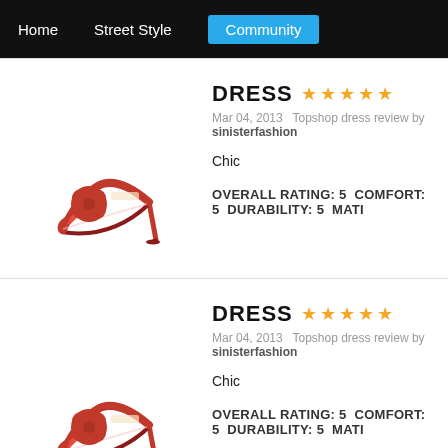Home | Street Style | Community
[Figure (photo): Red high-heel mule sandal with rose floral decoration]
DRESS ★★★★★
Mar 04, 2013   Topshop dress review by sinisterfashion
Chic
OVERALL RATING: 5  COMFORT: 5  DURABILITY: 5  MATI...
[Figure (photo): Red high-heel mule sandal with rose floral decoration]
DRESS ★★★★★
Mar 04, 2013   Topshop dress review by sinisterfashion
Chic
OVERALL RATING: 5  COMFORT: 5  DURABILITY: 5  MATI...